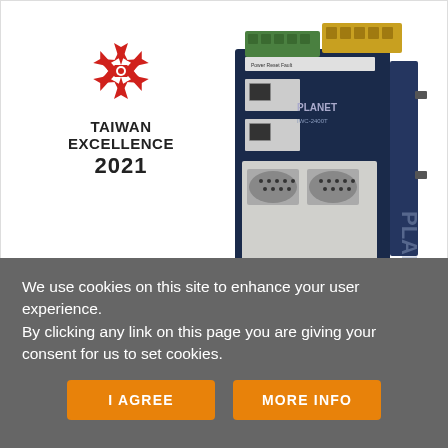[Figure (photo): Taiwan Excellence 2021 logo (red pinwheel star icon with text TAIWAN EXCELLENCE 2021) alongside a blue industrial device (PLANET brand network device with serial ports, Ethernet ports, and terminal block connectors on top)]
We use cookies on this site to enhance your user experience.
By clicking any link on this page you are giving your consent for us to set cookies.
I AGREE
MORE INFO